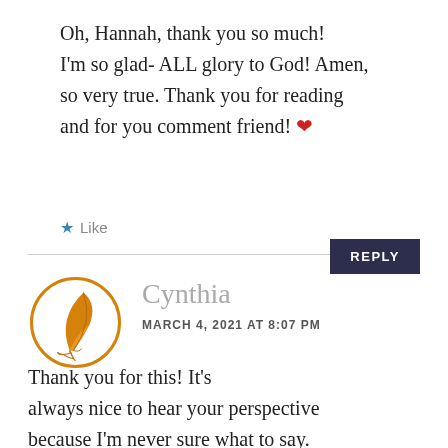Oh, Hannah, thank you so much! I'm so glad- ALL glory to God! Amen, so very true. Thank you for reading and for you comment friend! ❤
★ Like
REPLY
[Figure (illustration): Orange feather/quill pen inside an orange circle outline, used as avatar icon]
Cynthia
MARCH 4, 2021 AT 8:07 PM
Thank you for this! It's always nice to hear your perspective because I'm never sure what to say.